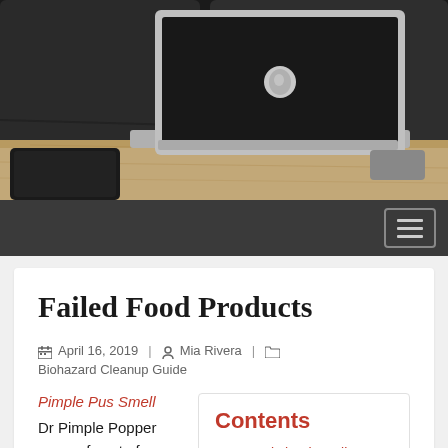[Figure (photo): Photograph of a silver MacBook laptop open on a wooden table with a dark sofa/background, aerial/side view]
[Figure (screenshot): Navigation bar with hamburger menu button (three horizontal lines) on dark background]
Failed Food Products
April 16, 2019  Mia Rivera  Biohazard Cleanup Guide
Pimple Pus Smell
Dr Pimple Popper comes face to face with a 15-year-old
Contents
1. Reveal chunky yellow